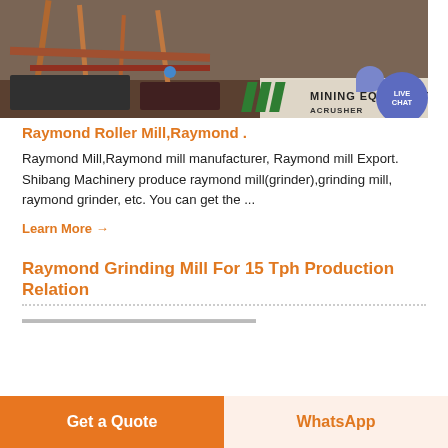[Figure (photo): Mining equipment photo with orange construction machinery, scaffolding and pipes. Overlay shows 'MINING EQUIPMENT' text with green diagonal stripes logo for ACRUSHER brand, and a purple live chat badge in the corner.]
Raymond Roller Mill,Raymond .
Raymond Mill,Raymond mill manufacturer, Raymond mill Export. Shibang Machinery produce raymond mill(grinder),grinding mill, raymond grinder, etc. You can get the ...
Learn More →
Raymond Grinding Mill For 15 Tph Production Relation
Get a Quote
WhatsApp